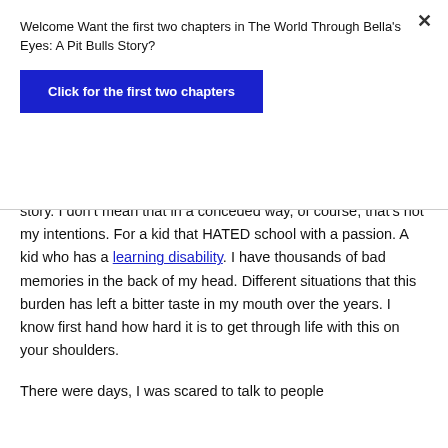Welcome Want the first two chapters in The World Through Bella's Eyes: A Pit Bulls Story?
[Figure (other): Blue call-to-action button with white bold text: Click for the first two chapters]
story. I don’t mean that in a conceded way, of course, that’s not my intentions. For a kid that HATED school with a passion. A kid who has a learning disability. I have thousands of bad memories in the back of my head. Different situations that this burden has left a bitter taste in my mouth over the years. I know first hand how hard it is to get through life with this on your shoulders.
There were days, I was scared to talk to people